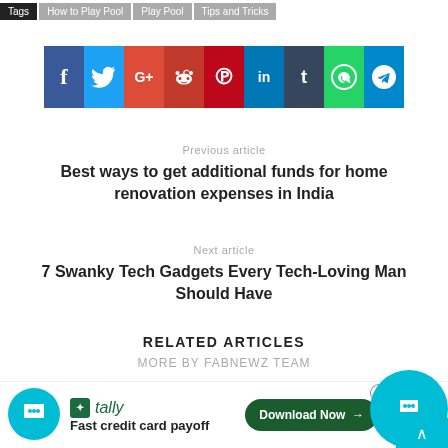Tags | How to Play Pool | Play Pool | Tips and Tricks
[Figure (infographic): Social media sharing icons bar: Facebook, Twitter, Google+, Reddit, Pinterest, LinkedIn, Tumblr, WhatsApp, Telegram]
Previous article
Best ways to get additional funds for home renovation expenses in India
Next article
7 Swanky Tech Gadgets Every Tech-Loving Man Should Have
RELATED ARTICLES
MORE BY FABNEWZ TEAM
[Figure (infographic): Advertisement banner: Tally app - Fast credit card payoff - Download Now button]